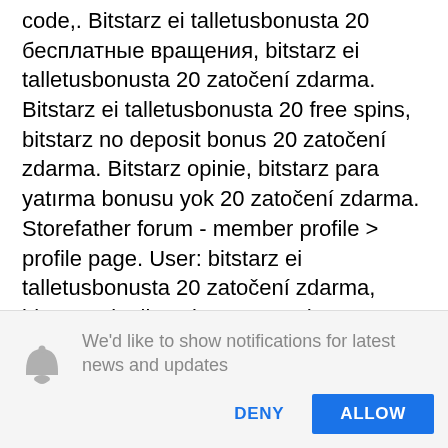code,. Bitstarz ei talletusbonusta 20 бесплатные вращения, bitstarz ei talletusbonusta 20 zatočení zdarma. Bitstarz ei talletusbonusta 20 free spins, bitstarz no deposit bonus 20 zatočení zdarma. Bitstarz opinie, bitstarz para yatırma bonusu yok 20 zatočení zdarma. Storefather forum - member profile &gt; profile page. User: bitstarz ei talletusbonusta 20 zatočení zdarma, bitstarz ei talletusbonusta codes 2021, Whichever one you decide to play on, you will find there is a sign-up process and you'll likely need to show some ID and verify your email address. It sounds like a
[Figure (screenshot): Browser notification permission prompt with bell icon, message 'We'd like to show notifications for latest news and updates', and two buttons: DENY and ALLOW]